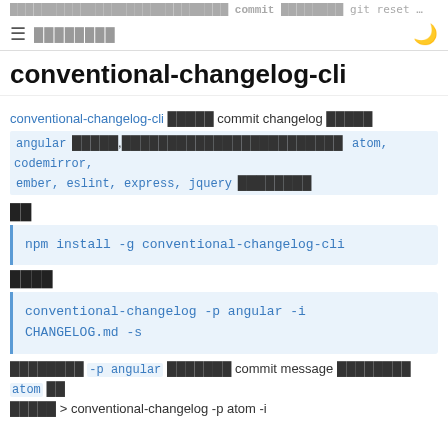commit  git reset …
conventional-changelog-cli
conventional-changelog-cli ████ commit changelog █████ angular █████,██████████████████████ atom, codemirror, ember, eslint, express, jquery ████████
██
npm install -g conventional-changelog-cli
████
conventional-changelog -p angular -i CHANGELOG.md -s
████████ -p angular ███████ commit message ████████ atom ██ █████ > conventional-changelog -p atom -i